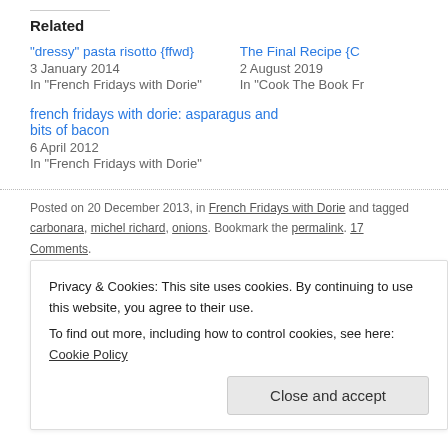Related
"dressy" pasta risotto {ffwd}
3 January 2014
In "French Fridays with Dorie"
The Final Recipe {CtB}
2 August 2019
In "Cook The Book Fr…"
french fridays with dorie: asparagus and bits of bacon
6 April 2012
In "French Fridays with Dorie"
Posted on 20 December 2013, in French Fridays with Dorie and tagged carbonara, michel richard, onions. Bookmark the permalink. 17 Comments.
Privacy & Cookies: This site uses cookies. By continuing to use this website, you agree to their use.
To find out more, including how to control cookies, see here: Cookie Policy
Close and accept